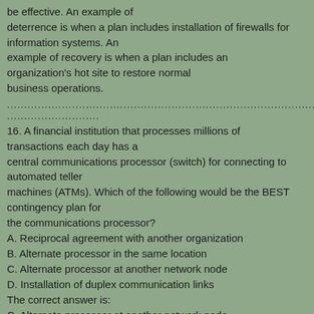be effective. An example of deterrence is when a plan includes installation of firewalls for information systems. An example of recovery is when a plan includes an organization's hot site to restore normal business operations.
.....................................................................................................................
...........................
16. A financial institution that processes millions of transactions each day has a central communications processor (switch) for connecting to automated teller machines (ATMs). Which of the following would be the BEST contingency plan for the communications processor?
A. Reciprocal agreement with another organization
B. Alternate processor in the same location
C. Alternate processor at another network node
D. Installation of duplex communication links
The correct answer is:
C. Alternate processor at another network node
Explanation: